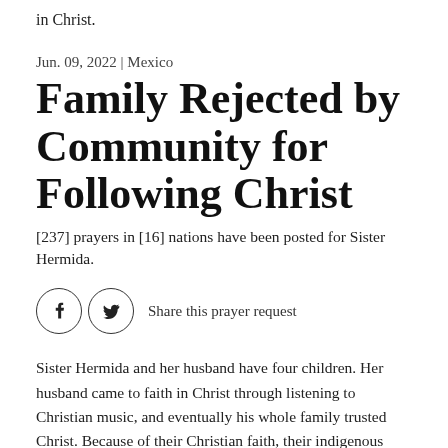in Christ.
Jun. 09, 2022 | Mexico
Family Rejected by Community for Following Christ
[237] prayers in [16] nations have been posted for Sister Hermida.
Share this prayer request
Sister Hermida and her husband have four children. Her husband came to faith in Christ through listening to Christian music, and eventually his whole family trusted Christ. Because of their Christian faith, their indigenous community opposes